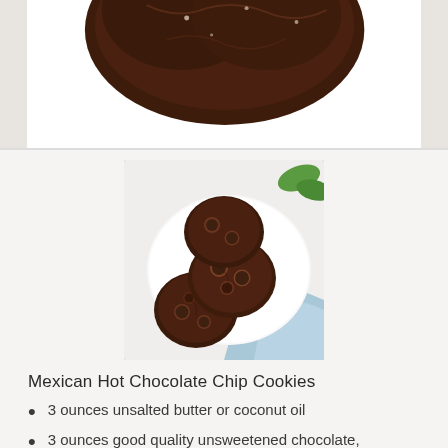[Figure (photo): Top portion of chocolate cookies on white background, cropped at top]
[Figure (photo): Chocolate chip cookies with large chocolate chips on a white plate with a blue cloth and green garnish in background]
Mexican Hot Chocolate Chip Cookies
3 ounces unsalted butter or coconut oil
3 ounces good quality unsweetened chocolate, coarsely chopped
1 cup light brown sugar, packed
1/4 cup granulated sugar